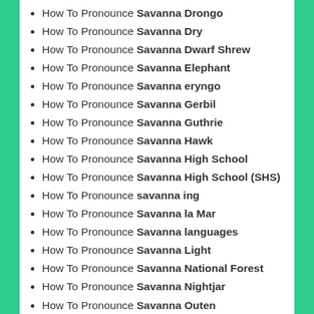How To Pronounce Savanna Drongo
How To Pronounce Savanna Dry
How To Pronounce Savanna Dwarf Shrew
How To Pronounce Savanna Elephant
How To Pronounce Savanna eryngo
How To Pronounce Savanna Gerbil
How To Pronounce Savanna Guthrie
How To Pronounce Savanna Hawk
How To Pronounce Savanna High School
How To Pronounce Savanna High School (SHS)
How To Pronounce savanna ing
How To Pronounce Savanna la Mar
How To Pronounce Savanna languages
How To Pronounce Savanna Light
How To Pronounce Savanna National Forest
How To Pronounce Savanna Nightjar
How To Pronounce Savanna Outen
How To Pronounce Savanna Owlet-nightjar
How To Pronounce Savanna Pastoral Neolithic
How To Pronounce Savanna Path Shrew
How To Pronounce Savanna Portage
How To Pronounce Savanna Portage State Park
How To Pronounce Savanna principle